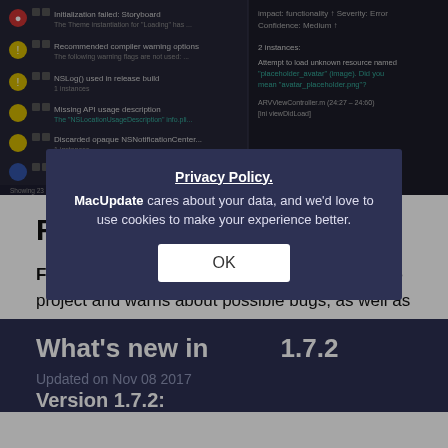[Figure (screenshot): Dark-themed Xcode-like IDE screenshot showing a diagnostics panel with several warnings including 'Recommended compiler warning options', 'NSLog() used in release build', 'Missing API usage description', 'Discarded opaque NSNotificationCenter', 'Duplicate resource'. Right panel shows error details about 'placeholder_avatar' image resource naming.]
Faux Pas overview
Faux Pas inspects your iOS or Mac app's Xcode project and warns about possible bugs, as well as about maintainability and style issues.
Read more
What's new in 1.7.2
Updated on Nov 08 2017
Version 1.7.2:
Privacy Policy.
MacUpdate cares about your data, and we'd love to use cookies to make your experience better.
OK